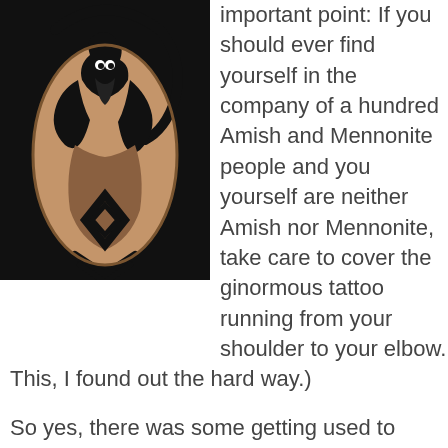[Figure (photo): A person's upper arm with a large tribal wolf tattoo in black ink, the wolf howling with decorative tribal patterns, on a dark background.]
important point: If you should ever find yourself in the company of a hundred Amish and Mennonite people and you yourself are neither Amish nor Mennonite, take care to cover the ginormous tattoo running from your shoulder to your elbow. This, I found out the hard way.)
So yes, there was some getting used to things. But the vast majority of my distant relatives were more than happy to put our outward differences aside, eager to use the opportunity as a chance to see how the other